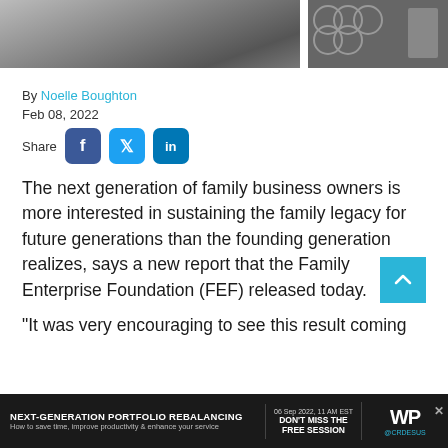[Figure (photo): Top photo strip showing people in a meeting or office environment, split into left and right sections]
By Noelle Boughton
Feb 08, 2022
Share [Facebook] [Twitter] [LinkedIn]
The next generation of family business owners is more interested in sustaining the family legacy for future generations than the founding generation realizes, says a new report that the Family Enterprise Foundation (FEF) released today.
“It was very encouraging to see this result coming
and CEO of both FEF and Family Enterprise
[Figure (screenshot): Advertisement bar at bottom: NEXT-GENERATION PORTFOLIO REBALANCING - How to save time, improve productivity & enhance your service. Date: 06 Sep 2022, 11 AM EST. DON'T MISS THE FREE SESSION. WP logo with @CRDESUS.]